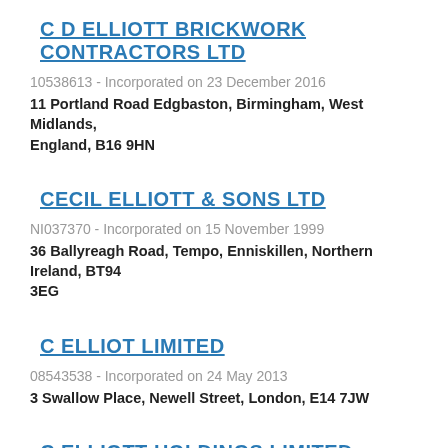C D ELLIOTT BRICKWORK CONTRACTORS LTD
10538613 - Incorporated on 23 December 2016
11 Portland Road Edgbaston, Birmingham, West Midlands, England, B16 9HN
CECIL ELLIOTT & SONS LTD
NI037370 - Incorporated on 15 November 1999
36 Ballyreagh Road, Tempo, Enniskillen, Northern Ireland, BT94 3EG
C ELLIOT LIMITED
08543538 - Incorporated on 24 May 2013
3 Swallow Place, Newell Street, London, E14 7JW
C ELLIOTT HOLDINGS LIMITED